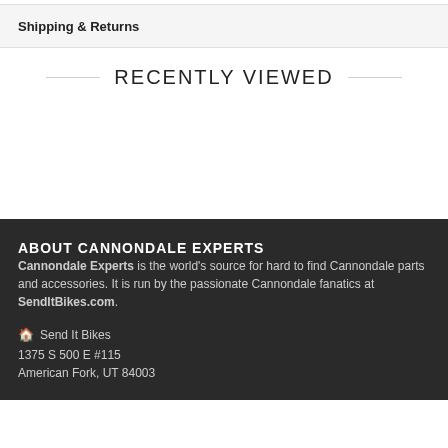Shipping & Returns
RECENTLY VIEWED
ABOUT CANNONDALE EXPERTS
Cannondale Experts is the world's source for hard to find Cannondale parts and accessories. It is run by the passionate Cannondale fanatics at SendItBikes.com.
🏠  Send It Bikes
1375 S 500 E #115
American Fork, UT 84003